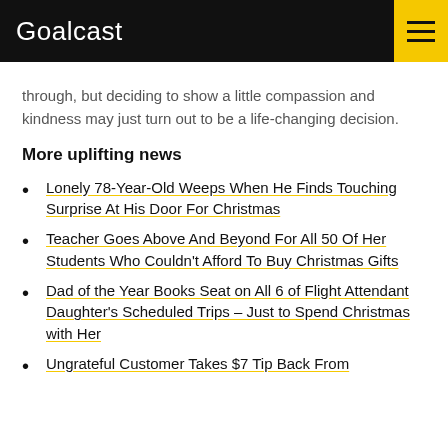Goalcast
through, but deciding to show a little compassion and kindness may just turn out to be a life-changing decision.
More uplifting news
Lonely 78-Year-Old Weeps When He Finds Touching Surprise At His Door For Christmas
Teacher Goes Above And Beyond For All 50 Of Her Students Who Couldn't Afford To Buy Christmas Gifts
Dad of the Year Books Seat on All 6 of Flight Attendant Daughter's Scheduled Trips – Just to Spend Christmas with Her
Ungrateful Customer Takes $7 Tip Back From